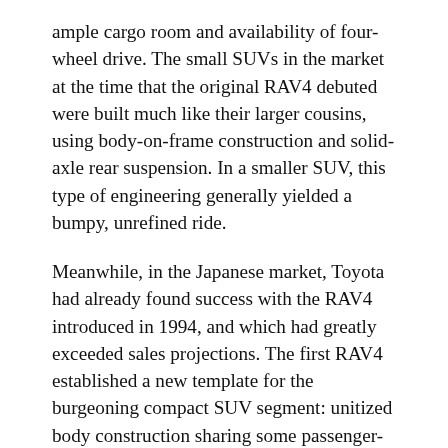ample cargo room and availability of four-wheel drive. The small SUVs in the market at the time that the original RAV4 debuted were built much like their larger cousins, using body-on-frame construction and solid-axle rear suspension. In a smaller SUV, this type of engineering generally yielded a bumpy, unrefined ride.
Meanwhile, in the Japanese market, Toyota had already found success with the RAV4 introduced in 1994, and which had greatly exceeded sales projections. The first RAV4 established a new template for the burgeoning compact SUV segment: unitized body construction sharing some passenger-car components; four-wheel independent suspension; standard front-wheel drive with available full-time all-wheel drive; higher ride height than typical passenger cars, and a design optimized for passenger room and